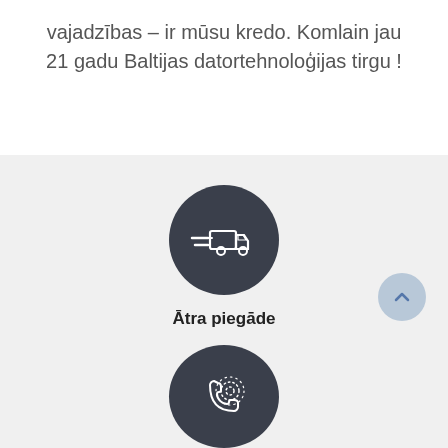vajadzības – ir mūsu kredo. Komlain jau 21 gadu Baltijas datortehnoloģijas tirgu !
[Figure (illustration): Dark circle icon with white delivery truck and speed lines]
Ātra piegāde
[Figure (illustration): Dark circle icon with white phone/call icon and dotted arc]
[Figure (illustration): Light blue scroll-to-top button with upward chevron arrow]